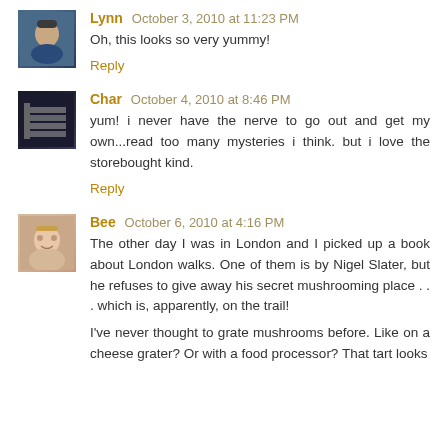Lynn October 3, 2010 at 11:23 PM
Oh, this looks so very yummy!
Reply
Char October 4, 2010 at 8:46 PM
yum! i never have the nerve to go out and get my own...read too many mysteries i think. but i love the storebought kind.
Reply
Bee October 6, 2010 at 4:16 PM
The other day I was in London and I picked up a book about London walks. One of them is by Nigel Slater, but he refuses to give away his secret mushrooming place . . . which is, apparently, on the trail!

I've never thought to grate mushrooms before. Like on a cheese grater? Or with a food processor? That tart looks